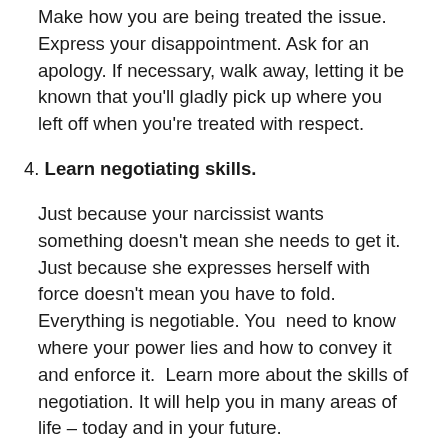Make how you are being treated the issue. Express your disappointment. Ask for an apology. If necessary, walk away, letting it be known that you'll gladly pick up where you left off when you're treated with respect.
4. Learn negotiating skills.
Just because your narcissist wants something doesn't mean she needs to get it.  Just because she expresses herself with force doesn't mean you have to fold. Everything is negotiable. You  need to know where your power lies and how to convey it and enforce it.  Learn more about the skills of negotiation. It will help you in many areas of life – today and in your future.
5. Bolster your own self esteem.
Don't be surprised if your self-esteem tanks because your